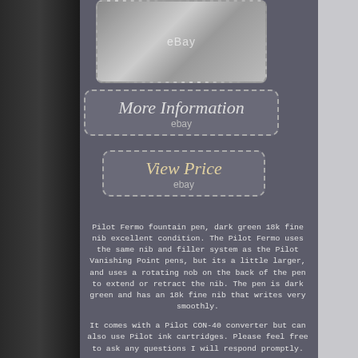[Figure (photo): Fountain pen photo with eBay watermark, shown in dotted border frame]
[Figure (screenshot): More Information button with dotted border, eBay branding]
[Figure (screenshot): View Price button with dotted border, eBay branding]
Pilot Fermo fountain pen, dark green 18k fine nib excellent condition. The Pilot Fermo uses the same nib and filler system as the Pilot Vanishing Point pens, but its a little larger, and uses a rotating nob on the back of the pen to extend or retract the nib. The pen is dark green and has an 18k fine nib that writes very smoothly.
It comes with a Pilot CON-40 converter but can also use Pilot ink cartridges. Please feel free to ask any questions I will respond promptly.
Filling system: Pilot converter or ink cartridges. Please let me know if you have any issues with the pen Ill work with you to fix them. The item "Pilot Fermo fountain pen dark green, 18k fine nib excellent condition" is in